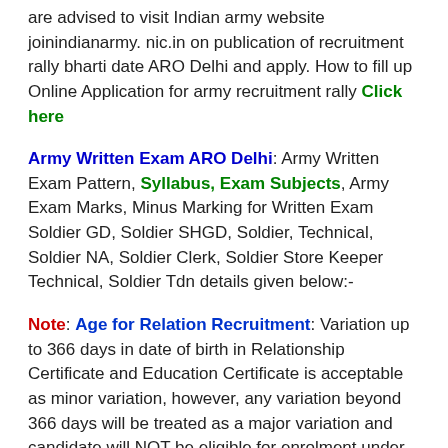are advised to visit Indian army website joinindianarmy. nic.in on publication of recruitment rally bharti date ARO Delhi and apply. How to fill up Online Application for army recruitment rally Click here
Army Written Exam ARO Delhi: Army Written Exam Pattern, Syllabus, Exam Subjects, Army Exam Marks, Minus Marking for Written Exam Soldier GD, Soldier SHGD, Soldier, Technical, Soldier NA, Soldier Clerk, Soldier Store Keeper Technical, Soldier Tdn details given below:-
Note: Age for Relation Recruitment: Variation up to 366 days in date of birth in Relationship Certificate and Education Certificate is acceptable as minor variation, however, any variation beyond 366 days will be treated as a major variation and candidate will NOT be eligible for enrolment under UHQ Quota. They may however apply through nearest AROs for selection as